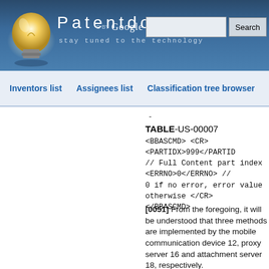Patentdocs - stay tuned to the technology
Inventors list | Assignees list | Classification tree browser
- TABLE-US-00007 <BBASCMD> <CR> <PARTIDX>999</PARTIDX> // Full Content part index <ERRNO>0</ERRNO> // 0 if no error, error value otherwise </CR> </BBASCMD>
[0051] From the foregoing, it will be understood that three methods are implemented by the mobile communication device 12, proxy server 16 and attachment server 18, respectively.
[0052] A method implemented by...